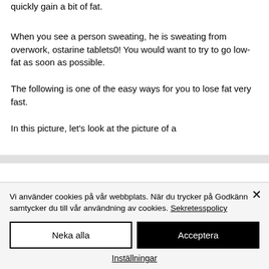quickly gain a bit of fat.
When you see a person sweating, he is sweating from overwork, ostarine tablets0! You would want to try to go low-fat as soon as possible.
The following is one of the easy ways for you to lose fat very fast.
In this picture, let’s look at the picture of a
Vi använder cookies på vår webbplats. När du trycker på Godkänn samtycker du till vår användning av cookies. Sekretesspolicy
Neka alla
Acceptera
Inställningar